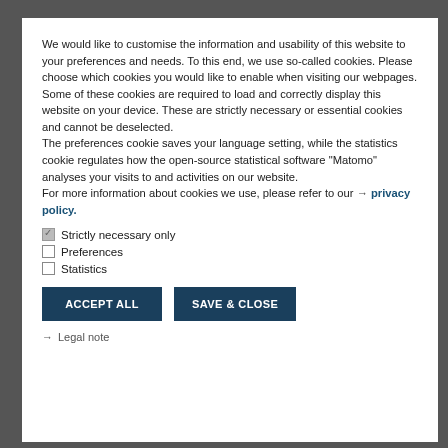We would like to customise the information and usability of this website to your preferences and needs. To this end, we use so-called cookies. Please choose which cookies you would like to enable when visiting our webpages. Some of these cookies are required to load and correctly display this website on your device. These are strictly necessary or essential cookies and cannot be deselected. The preferences cookie saves your language setting, while the statistics cookie regulates how the open-source statistical software "Matomo" analyses your visits to and activities on our website. For more information about cookies we use, please refer to our → privacy policy.
Strictly necessary only
Preferences
Statistics
ACCEPT ALL
SAVE & CLOSE
→ Legal note